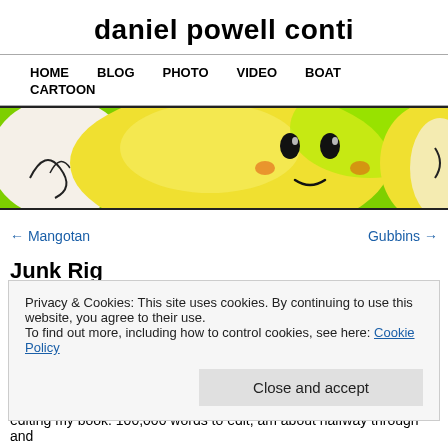daniel powell conti
HOME   BLOG   PHOTO   VIDEO   BOAT   CARTOON
[Figure (illustration): Cartoon banner image showing a yellow round smiling character face with small black eyes and rosy cheeks, on a green and white swirly background]
← Mangotan
Gubbins →
Junk Rig
Privacy & Cookies: This site uses cookies. By continuing to use this website, you agree to their use.
To find out more, including how to control cookies, see here: Cookie Policy
Close and accept
editing my book. 100,000 words to edit, am about halfway through and